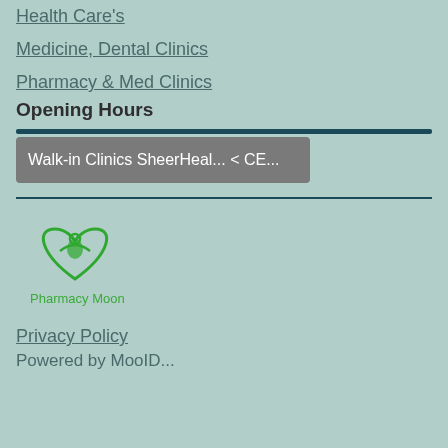Health Care's
Medicine, Dental Clinics
Pharmacy & Med Clinics
Opening Hours
[Figure (screenshot): Scrollbar/tab UI element showing 'Walk-in Clinics SheerHeal... < CE...' in a grey tab bar with a dark teal scrollbar track above]
[Figure (logo): Pharmacy Moon logo: green heart with leaf/person figure inside, text 'Pharmacy Moon' in green below]
Privacy Policy
Powered by MooID...